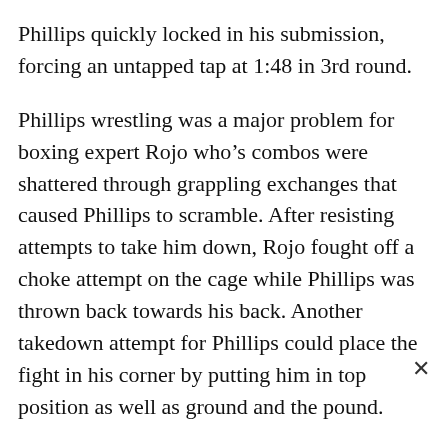Phillips quickly locked in his submission, forcing an untapped tap at 1:48 in 3rd round.
Phillips wrestling was a major problem for boxing expert Rojo who’s combos were shattered through grappling exchanges that caused Phillips to scramble. After resisting attempts to take him down, Rojo fought off a choke attempt on the cage while Phillips was thrown back towards his back. Another takedown attempt for Phillips could place the fight in his corner by putting him in top position as well as ground and the pound.
A steady calf kick slowly removed Rojo’s flexibility